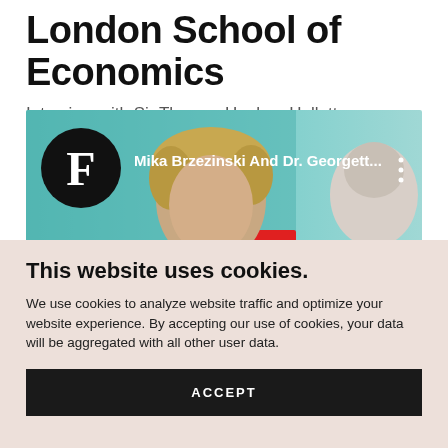London School of Economics
Interview with Sir Thomas Hughes-Hallett
[Figure (screenshot): Video thumbnail showing a Forbes video player with 'Mika Brzezinski And Dr. Georgett...' title and a woman with short blonde hair on screen]
This website uses cookies.
We use cookies to analyze website traffic and optimize your website experience. By accepting our use of cookies, your data will be aggregated with all other user data.
ACCEPT